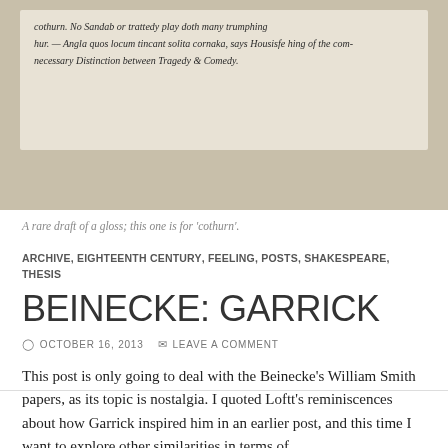[Figure (photo): A photograph of a handwritten manuscript page on aged paper showing cursive text, appearing to be a draft gloss entry, displayed against a dark background.]
A rare draft of a gloss; this one is for 'cothurn'.
ARCHIVE, EIGHTEENTH CENTURY, FEELING, POSTS, SHAKESPEARE, THESIS
BEINECKE: GARRICK
OCTOBER 16, 2013   LEAVE A COMMENT
This post is only going to deal with the Beinecke's William Smith papers, as its topic is nostalgia. I quoted Loftt's reminiscences about how Garrick inspired him in an earlier post, and this time I want to explore other similarities in terms of